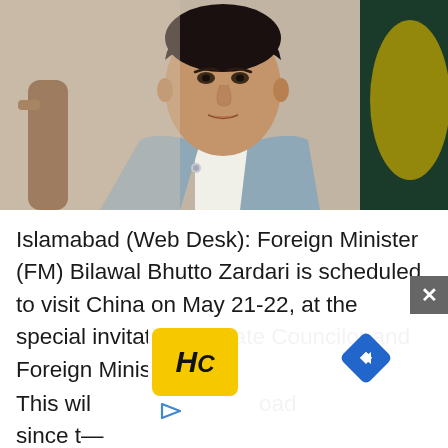[Figure (photo): Photo of Foreign Minister Bilawal Bhutto Zardari seated, wearing a light blue blazer and white shirt, with a Pakistani flag and ornate chair visible in the background.]
Islamabad (Web Desk): Foreign Minister (FM) Bilawal Bhutto Zardari is scheduled to visit China on May 21-22, at the special invitation of State Councilor and Foreign Ministe[r...] This wil[l...] oad since t[he...]